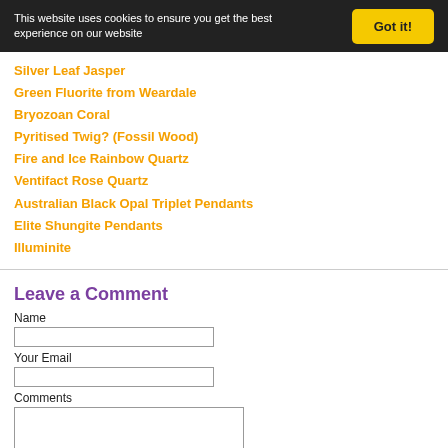This website uses cookies to ensure you get the best experience on our website
Got it!
Silver Leaf Jasper
Green Fluorite from Weardale
Bryozoan Coral
Pyritised Twig? (Fossil Wood)
Fire and Ice Rainbow Quartz
Ventifact Rose Quartz
Australian Black Opal Triplet Pendants
Elite Shungite Pendants
Illuminite
Leave a Comment
Name
Your Email
Comments